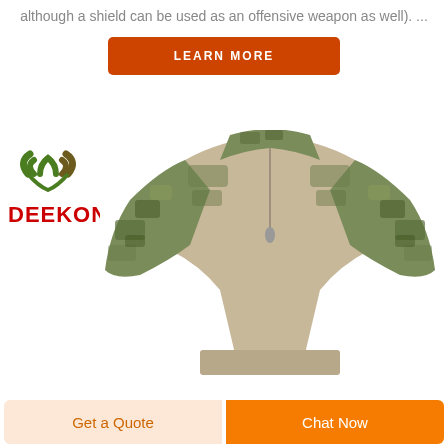although a shield can be used as an offensive weapon as well). ...
LEARN MORE
[Figure (logo): DEEKON brand logo with green/brown shield emblem and red bold DEEKON text]
[Figure (photo): Person wearing military camouflage combat shirt with multicam pattern, khaki/tan torso area, quarter-zip collar, shown from neck to waist]
Get a Quote
Chat Now